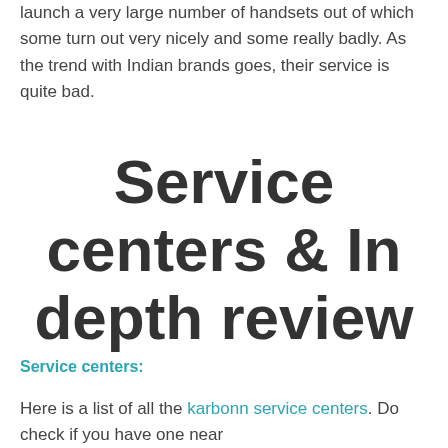launch a very large number of handsets out of which some turn out very nicely and some really badly. As the trend with Indian brands goes, their service is quite bad.
Service centers & In depth review
Service centers:
Here is a list of all the karbonn service centers. Do check if you have one near